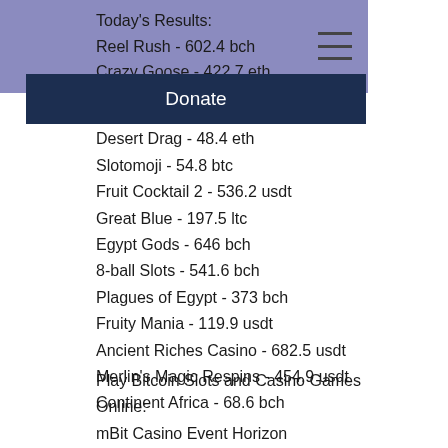Today's Results:
Reel Rush - 602.4 bch
Crazy Goose - 422.7 eth
Donate
Sky Strikers - 132.6 eth
Desert Drag - 48.4 eth
Slotomoji - 54.8 btc
Fruit Cocktail 2 - 536.2 usdt
Great Blue - 197.5 ltc
Egypt Gods - 646 bch
8-ball Slots - 541.6 bch
Plagues of Egypt - 373 bch
Fruity Mania - 119.9 usdt
Ancient Riches Casino - 682.5 usdt
Merlin's Magic Respins - 454.9 usdt
Continent Africa - 68.6 bch
Play Bitcoin Slots and Casino Games Online:
mBit Casino Event Horizon
BitcoinCasino.us Ace Ventura